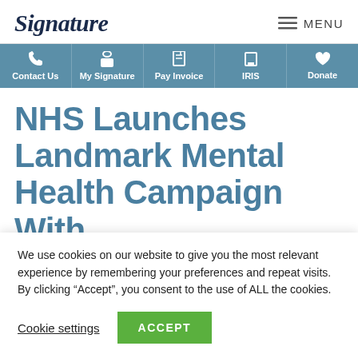Signature | MENU
Contact Us | My Signature | Pay Invoice | IRIS | Donate
NHS Launches Landmark Mental Health Campaign With
We use cookies on our website to give you the most relevant experience by remembering your preferences and repeat visits. By clicking “Accept”, you consent to the use of ALL the cookies.
Cookie settings | ACCEPT